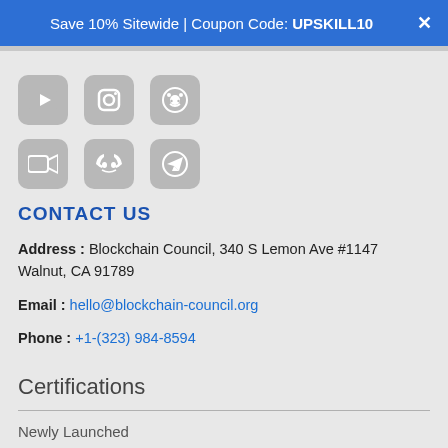Save 10% Sitewide | Coupon Code: UPSKILL10
[Figure (other): Row of social media icons: YouTube, Instagram, Reddit]
[Figure (other): Row of social media icons: Zoom/video, Discord, Telegram]
CONTACT US
Address : Blockchain Council, 340 S Lemon Ave #1147 Walnut, CA 91789
Email : hello@blockchain-council.org
Phone : +1-(323) 984-8594
Certifications
Newly Launched